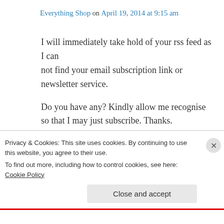Everything Shop on April 19, 2014 at 9:15 am
I will immediately take hold of your rss feed as I can not find your email subscription link or newsletter service.

Do you have any? Kindly allow me recognise so that I may just subscribe. Thanks.
Like
Privacy & Cookies: This site uses cookies. By continuing to use this website, you agree to their use.
To find out more, including how to control cookies, see here: Cookie Policy
Close and accept